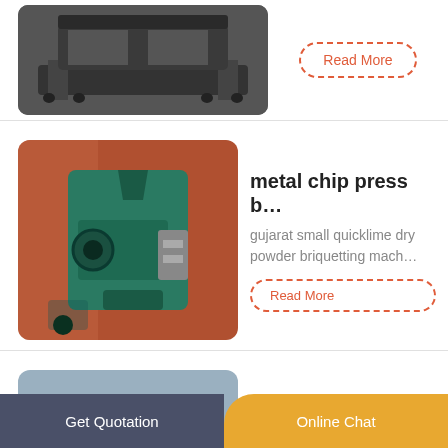[Figure (photo): Industrial machine on a dark metal frame, viewed from front, gray/black coloring]
Read More
[Figure (photo): Metal chip press briquetting machine in industrial setting, teal/green color with conveyor and hopper]
metal chip press b…
gujarat small quicklime dry powder briquetting mach…
Read More
[Figure (photo): Radhe Industrial briquetting machine, large teal/cyan machine with red fan wheel in industrial warehouse]
Radhe Industrial c…
RICO offers two models to make briquettes first is…
Read More
Get Quotation | Online Chat